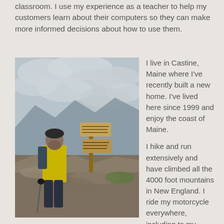classroom. I use my experience as a teacher to help my customers learn about their computers so they can make more informed decisions about how to use them.
[Figure (photo): A man in a yellow jacket and dark hat, carrying a backpack and trekking poles, standing at a mountain summit sign with rocky terrain and cloudy sky in the background.]
I live in Castine, Maine where I've recently built a new home. I've lived here since 1999 and enjoy the coast of Maine.
I hike and run extensively and have climbed all the 4000 foot mountains in New England. I ride my motorcycle everywhere, including to my computer jobs when I can.